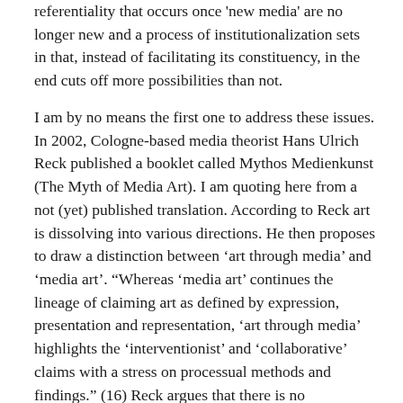referentiality that occurs once 'new media' are no longer new and a process of institutionalization sets in that, instead of facilitating its constituency, in the end cuts off more possibilities than not.
I am by no means the first one to address these issues. In 2002, Cologne-based media theorist Hans Ulrich Reck published a booklet called Mythos Medienkunst (The Myth of Media Art). I am quoting here from a not (yet) published translation. According to Reck art is dissolving into various directions. He then proposes to draw a distinction between ‘art through media’ and ‘media art’. “Whereas ‘media art’ continues the lineage of claiming art as defined by expression, presentation and representation, ‘art through media’ highlights the ‘interventionist’ and ‘collaborative’ claims with a stress on processual methods and findings.” (16) Reck argues that there is no compelling reason to